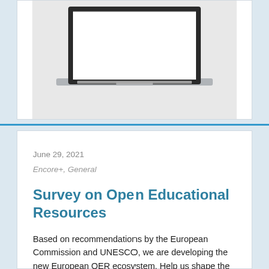[Figure (photo): Laptop computer on a desk, screen showing a white display, photographed from front-above angle]
June 29, 2021
Encore+, General
Survey on Open Educational Resources
Based on recommendations by the European Commission and UNESCO, we are developing the new European OER ecosystem. Help us shape the network by participating in this short survey...